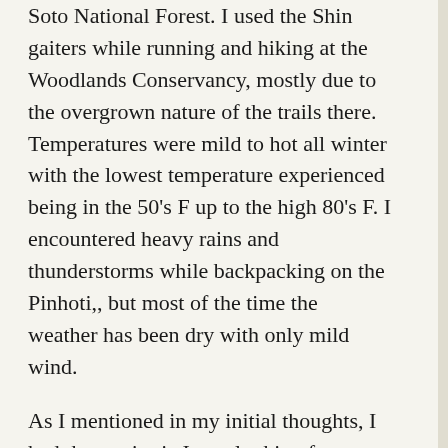Soto National Forest. I used the Shin gaiters while running and hiking at the Woodlands Conservancy, mostly due to the overgrown nature of the trails there. Temperatures were mild to hot all winter with the lowest temperature experienced being in the 50's F up to the high 80's F. I encountered heavy rains and thunderstorms while backpacking on the Pinhoti,, but most of the time the weather has been dry with only mild wind.
As I mentioned in my initial thoughts, I had three criteria I was looking for, Usefulness, Durability and Protection. Usefulness is where I will begin. I kept the gaiter combo in my truck so that I would have them when I went adventuring. Overall, they are both easy to use. The Ankle gaiters are a sleeve type so they have to go on before my shoes. This takes an extra second of planning, but ensures a great seal